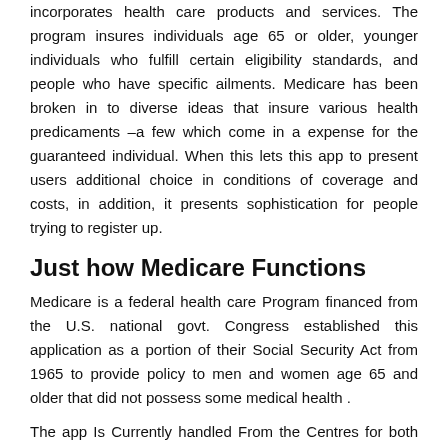incorporates health care products and services. The program insures individuals age 65 or older, younger individuals who fulfill certain eligibility standards, and people who have specific ailments. Medicare has been broken in to diverse ideas that insure various health predicaments –a few which come in a expense for the guaranteed individual. When this lets this app to present users additional choice in conditions of coverage and costs, in addition, it presents sophistication for people trying to register up.
Just how Medicare Functions
Medicare is a federal health care Program financed from the U.S. national govt. Congress established this application as a portion of their Social Security Act from 1965 to provide policy to men and women age 65 and older that did not possess some medical health .
The app Is Currently handled From the Centres for both Medicare and Medicaid Services (CMS) and